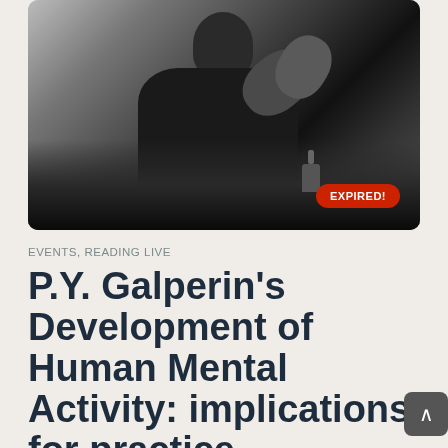[Figure (photo): Black and white photograph of a man in a suit gesturing with his hands, appears to be speaking or lecturing. An 'EXPIRED!' badge in red is overlaid on the bottom right of the image.]
EVENTS, READING LIVE
P.Y. Galperin's Development of Human Mental Activity: implications for practice